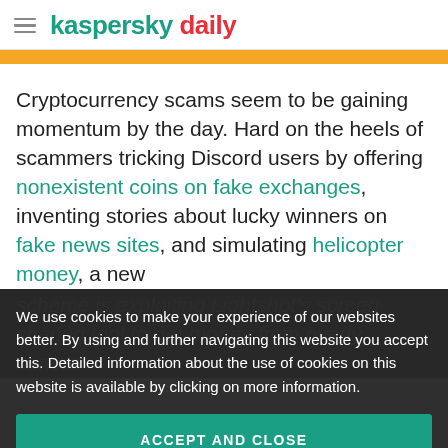kaspersky daily
Cryptocurrency scams seem to be gaining momentum by the day. Hard on the heels of scammers tricking Discord users by offering nonexistent coins on fake exchanges, inventing stories about lucky winners on fake news sites, and simulating helicopter money, a new scheme is exploiting Lightshot's screen-sharing tool to get money from overly curious
We use cookies to make your experience of our websites better. By using and further navigating this website you accept this. Detailed information about the use of cookies on this website is available by clicking on more information.
ACCEPT AND CLOSE